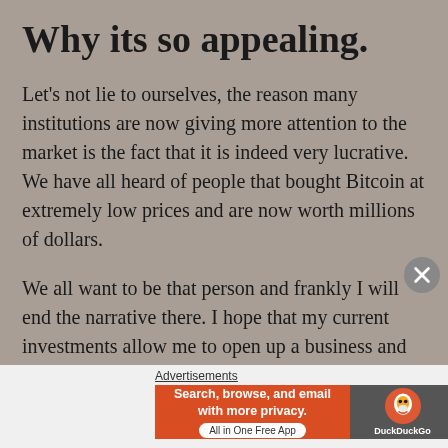Why its so appealing.
Let's not lie to ourselves, the reason many institutions are now giving more attention to the market is the fact that it is indeed very lucrative. We have all heard of people that bought Bitcoin at extremely low prices and are now worth millions of dollars.
We all want to be that person and frankly I will end the narrative there. I hope that my current investments allow me to open up a business and make a better life for me and my own. I hope this opportunity appeals to you as well.
Advertisements
[Figure (screenshot): DuckDuckGo advertisement banner: orange left panel with text 'Search, browse, and email with more privacy. All in One Free App' and dark right panel with DuckDuckGo duck logo and brand name.]